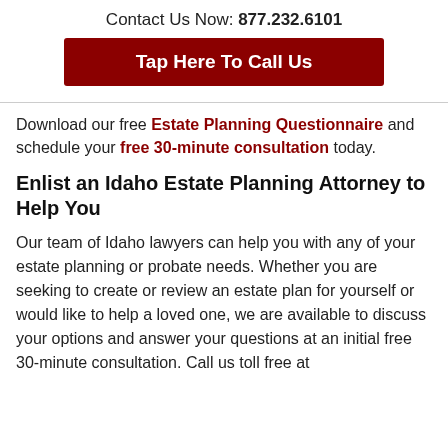Contact Us Now: 877.232.6101
[Figure (other): Dark red button with white bold text: Tap Here To Call Us]
Download our free Estate Planning Questionnaire and schedule your free 30-minute consultation today.
Enlist an Idaho Estate Planning Attorney to Help You
Our team of Idaho lawyers can help you with any of your estate planning or probate needs. Whether you are seeking to create or review an estate plan for yourself or would like to help a loved one, we are available to discuss your options and answer your questions at an initial free 30-minute consultation. Call us toll free at